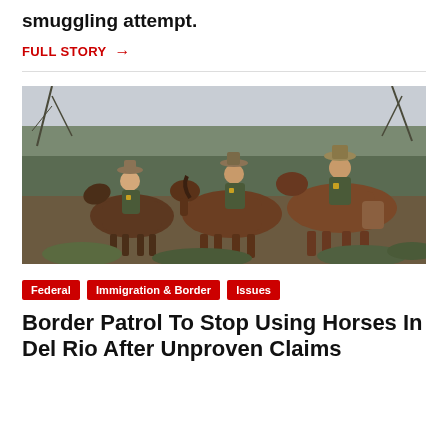smuggling attempt.
FULL STORY →
[Figure (photo): Three U.S. Border Patrol agents on horseback in a brushy, rural landscape, wearing green uniforms and cowboy hats, conversing with each other.]
Federal
Immigration & Border
Issues
Border Patrol To Stop Using Horses In Del Rio After Unproven Claims